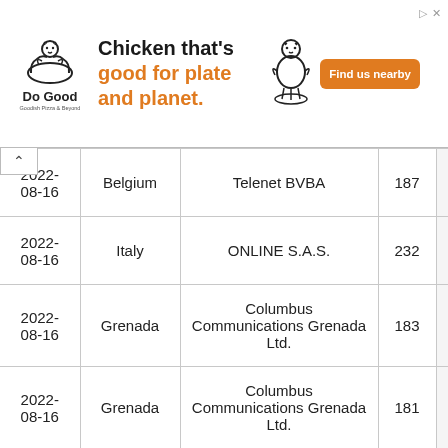[Figure (other): Do Good chicken brand advertisement banner: 'Chicken that's good for plate and planet.' with Find us nearby button]
| Date | Country | Organization | Count |  |
| --- | --- | --- | --- | --- |
| 2022-08-16 | Belgium | Telenet BVBA | 187 |  |
| 2022-08-16 | Italy | ONLINE S.A.S. | 232 |  |
| 2022-08-16 | Grenada | Columbus Communications Grenada Ltd. | 183 |  |
| 2022-08-16 | Grenada | Columbus Communications Grenada Ltd. | 181 |  |
| 2022-08-16 | Grenada | Columbus Communications Grenada Ltd. | 187 |  |